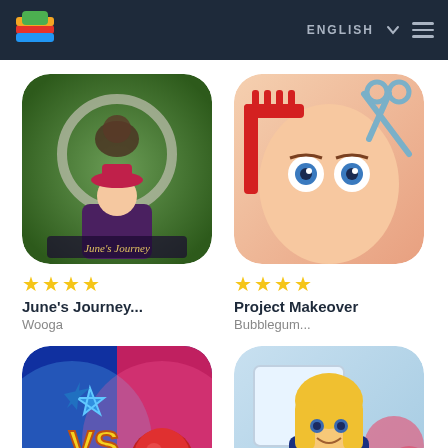ENGLISH
[Figure (screenshot): June's Journey game app icon - hidden object game with woman in hat]
★★★★
June's Journey...
Wooga
[Figure (screenshot): Project Makeover game app icon - character with hair styling scissors and comb]
★★★★
Project Makeover
Bubblegum...
[Figure (screenshot): Match Masters game app icon - VS battle blue star on blue/pink background]
★★★★
Match Masters
Candivore
[Figure (screenshot): Matchington Mansion game app icon - blonde woman in blue dress]
★★★★
Matchington...
Magic Tavern, Inc.